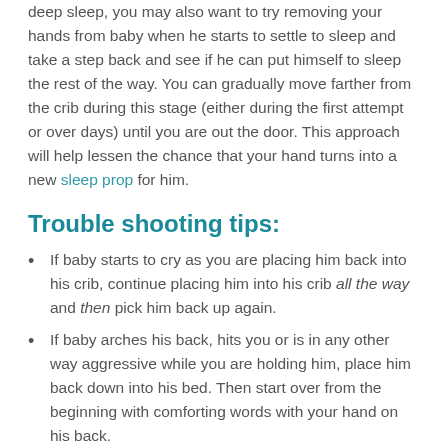deep sleep, you may also want to try removing your hands from baby when he starts to settle to sleep and take a step back and see if he can put himself to sleep the rest of the way. You can gradually move farther from the crib during this stage (either during the first attempt or over days) until you are out the door. This approach will help lessen the chance that your hand turns into a new sleep prop for him.
Trouble shooting tips:
If baby starts to cry as you are placing him back into his crib, continue placing him into his crib all the way and then pick him back up again.
If baby arches his back, hits you or is in any other way aggressive while you are holding him, place him back down into his bed. Then start over from the beginning with comforting words with your hand on his back.
If baby is acting out in his crib (flopping around etc) then offer comforting words and maybe a hand on his back to help calm him down